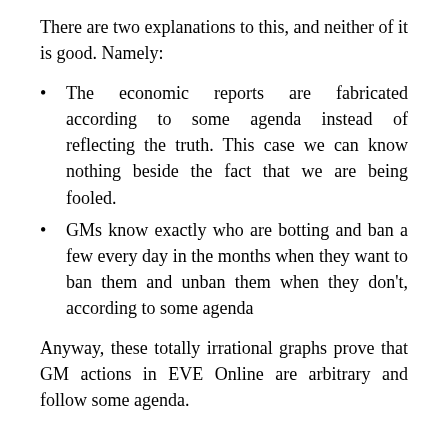There are two explanations to this, and neither of it is good. Namely:
The economic reports are fabricated according to some agenda instead of reflecting the truth. This case we can know nothing beside the fact that we are being fooled.
GMs know exactly who are botting and ban a few every day in the months when they want to ban them and unban them when they don't, according to some agenda
Anyway, these totally irrational graphs prove that GM actions in EVE Online are arbitrary and follow some agenda.